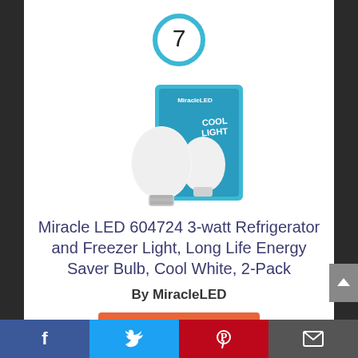[Figure (other): Number 7 inside a cyan/blue circle outline]
[Figure (photo): MiracleLED Cool Light product packaging showing two white LED bulbs and retail box]
Miracle LED 604724 3-watt Refrigerator and Freezer Light, Long Life Energy Saver Bulb, Cool White, 2-Pack
By MiracleLED
View Product
Facebook | Twitter | Pinterest | Email